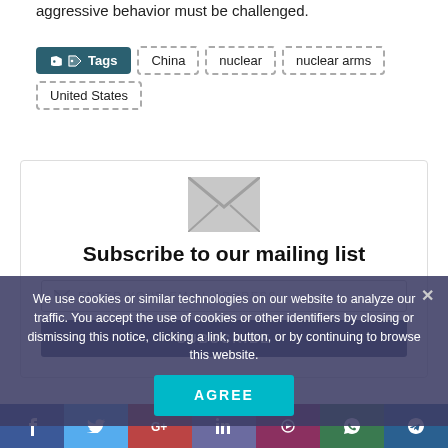aggressive behavior must be challenged.
Tags  China  nuclear  nuclear arms  United States
[Figure (infographic): Subscribe to mailing list box with envelope icon, email input field, and subscribe button]
We use cookies or similar technologies on our website to analyze our traffic. You accept the use of cookies or other identifiers by closing or dismissing this notice, clicking a link, button, or by continuing to browse this website.
AGREE
Social share bar: Facebook, Twitter, Google+, LinkedIn, YouTube, WhatsApp, Telegram